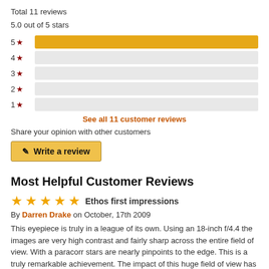Total 11 reviews
5.0 out of 5 stars
[Figure (bar-chart): Star rating distribution]
See all 11 customer reviews
Share your opinion with other customers
✎ Write a review
Most Helpful Customer Reviews
★★★★★ Ethos first impressions
By Darren Drake on October, 17th 2009
This eyepiece is truly in a league of its own. Using an 18-inch f/4.4 the images are very high contrast and fairly sharp across the entire field of view. With a paracorr stars are nearly pinpoints to the edge. This is a truly remarkable achievement. The impact of this huge field of view has